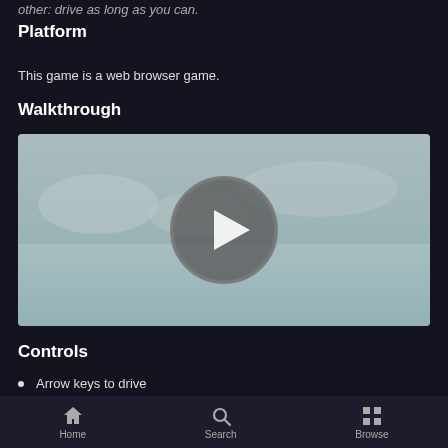other: drive as long as you can.
Platform
This game is a web browser game.
Walkthrough
[Figure (screenshot): Video thumbnail with a play button circle overlay on a light bluish background]
Controls
Arrow keys to drive
Shift to use nitro
WASD to change camera
Ctrl + arrow to change car
R to respawn
Home  Search  Browse